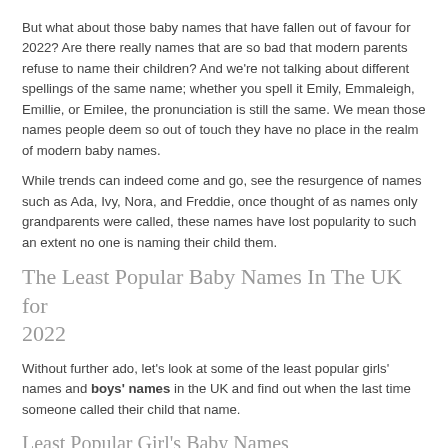But what about those baby names that have fallen out of favour for 2022? Are there really names that are so bad that modern parents refuse to name their children? And we're not talking about different spellings of the same name; whether you spell it Emily, Emmaleigh, Emillie, or Emilee, the pronunciation is still the same. We mean those names people deem so out of touch they have no place in the realm of modern baby names.
While trends can indeed come and go, see the resurgence of names such as Ada, Ivy, Nora, and Freddie, once thought of as names only grandparents were called, these names have lost popularity to such an extent no one is naming their child them.
The Least Popular Baby Names In The UK for 2022
Without further ado, let's look at some of the least popular girls' names and boys' names in the UK and find out when the last time someone called their child that name.
Least Popular Girl's Baby Names